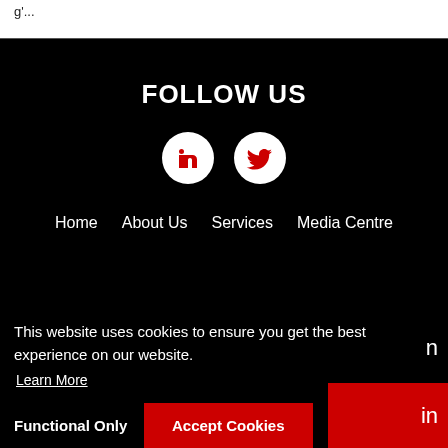g'...
FOLLOW US
[Figure (illustration): LinkedIn and Twitter social media icons as white circles with red logos]
Home
About Us
Services
Media Centre
This website uses cookies to ensure you get the best experience on our website.
Learn More
n
Functional Only
Accept Cookies
in